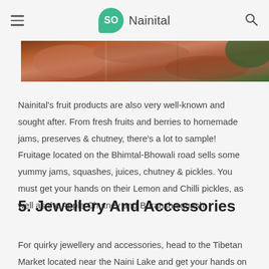SO Nainital
[Figure (photo): Close-up photo of fruit products, showing sliced fruit with warm brown and orange tones]
Nainital's fruit products are also very well-known and sought after. From fresh fruits and berries to homemade jams, preserves & chutney, there's a lot to sample! Fruitage located on the Bhimtal-Bhowali road sells some yummy jams, squashes, juices, chutney & pickles. You must get your hands on their Lemon and Chilli pickles, as well as the Apple Chutney and Buransh squash.
5. Jewellery And Accessories
For quirky jewellery and accessories, head to the Tibetan Market located near the Naini Lake and get your hands on some really